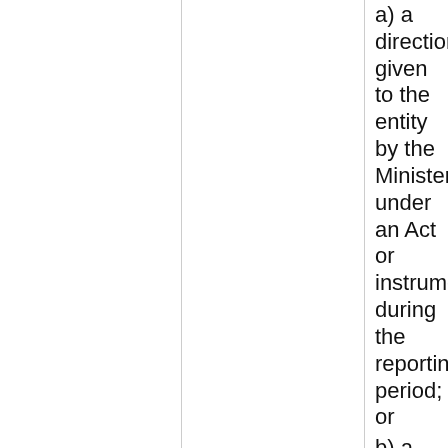a) a direction given to the entity by the Minister under an Act or instrument during the reporting period; or
b) a government policy order that applied in relation to the entity during the reporting period under section 22 of the